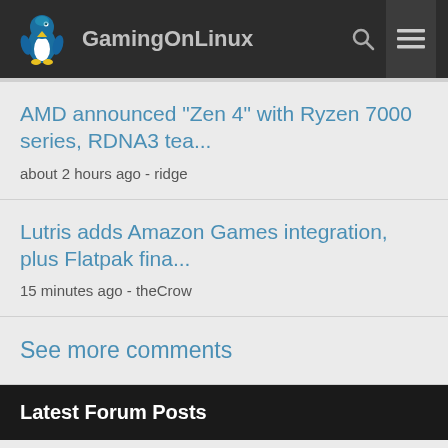GamingOnLinux
AMD announced "Zen 4" with Ryzen 7000 series, RDNA3 tea...
about 2 hours ago - ridge
Lutris adds Amazon Games integration, plus Flatpak fina...
15 minutes ago - theCrow
See more comments
Latest Forum Posts
Not sure this is good news
1 hour ago - Craggles086
How much of a performance difference is there?